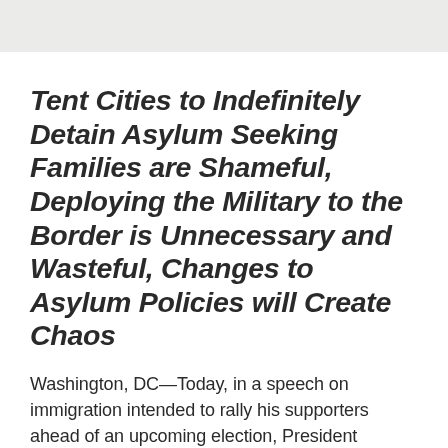Tent Cities to Indefinitely Detain Asylum Seeking Families are Shameful, Deploying the Military to the Border is Unnecessary and Wasteful, Changes to Asylum Policies will Create Chaos
Washington, DC—Today, in a speech on immigration intended to rally his supporters ahead of an upcoming election, President Donald